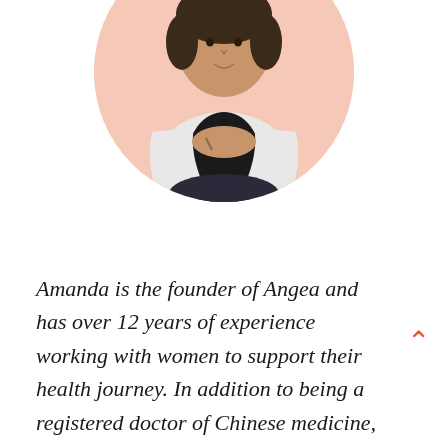[Figure (photo): Circular portrait photo of Amanda, a woman in a white blazer and black top, sitting cross-legged with hands clasped, on a light peach/salmon circular background.]
Amanda is the founder of Angea and has over 12 years of experience working with women to support their health journey. In addition to being a registered doctor of Chinese medicine, Amanda is a yoga